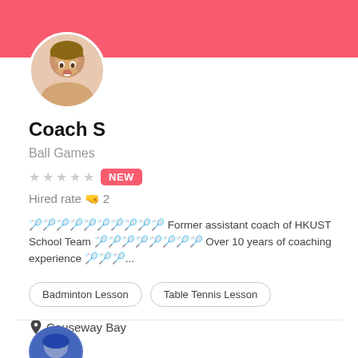[Figure (photo): Pink header banner at top of page]
[Figure (photo): Circular profile photo of a young child with mouth open]
Coach S
Ball Games
★★★★★ NEW
Hired rate 👍 2
🏸🏸🏸🏸🏸🏸🏸🏸🏸🏸 Former assistant coach of HKUST School Team 🏸🏸🏸🏸🏸🏸🏸🏸 Over 10 years of coaching experience 🏸🏸🏸...
Badminton Lesson
Table Tennis Lesson
Causeway Bay
[Figure (photo): Circular profile photo of second coach (partially visible at bottom), wearing blue]